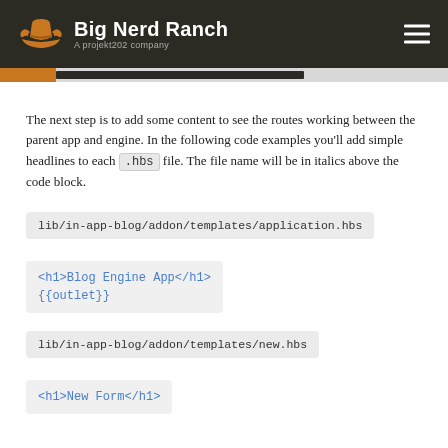Big Nerd Ranch — A projekt202 company
The next step is to add some content to see the routes working between the parent app and engine. In the following code examples you'll add simple headlines to each .hbs file. The file name will be in italics above the code block.
lib/in-app-blog/addon/templates/application.hbs
<h1>Blog Engine App</h1>
{{outlet}}
lib/in-app-blog/addon/templates/new.hbs
<h1>New Form</h1>